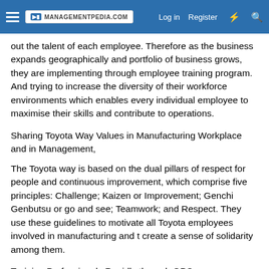MANAGEMENTPEDIA.COM | Log in | Register
out the talent of each employee. Therefore as the business expands geographically and portfolio of business grows, they are implementing through employee training program. And trying to increase the diversity of their workforce environments which enables every individual employee to maximise their skills and contribute to operations.
Sharing Toyota Way Values in Manufacturing Workplace and in Management,
The Toyota way is based on the dual pillars of respect for people and continuous improvement, which comprise five principles: Challenge; Kaizen or Improvement; Genchi Genbutsu or go and see; Teamwork; and Respect. They use these guidelines to motivate all Toyota employees involved in manufacturing and t create a sense of solidarity among them.
Training Professionals Rapidly through GPC.
In July 2003, Toyota established GPC, or Global Production Center, to train employees with the skills to ensure best-in-